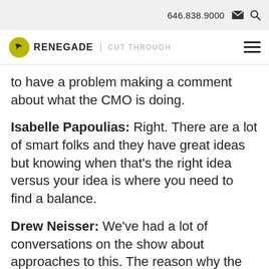646.838.9000
RENEGADE | CUT THROUGH
to have a problem making a comment about what the CMO is doing.
Isabelle Papoulias: Right. There are a lot of smart folks and they have great ideas but knowing when that’s the right idea versus your idea is where you need to find a balance.
Drew Neisser: We’ve had a lot of conversations on the show about approaches to this. The reason why the CMO can’t simply ignore everything those people say is because you have too many dependencies. You need the CFO to give you the budget and believe and agree on